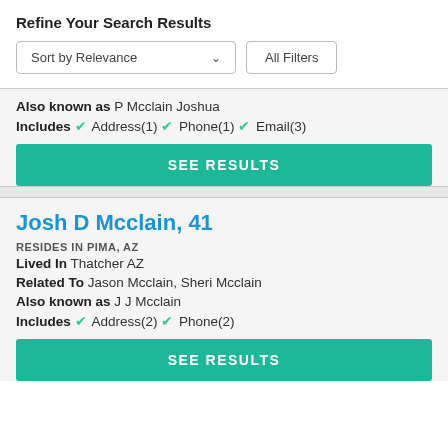Refine Your Search Results
[Figure (screenshot): Sort by Relevance dropdown and All Filters button]
Also known as P Mcclain Joshua
Includes ✓ Address(1) ✓ Phone(1) ✓ Email(3)
SEE RESULTS
Josh D Mcclain, 41
RESIDES IN PIMA, AZ
Lived In Thatcher AZ
Related To Jason Mcclain, Sheri Mcclain
Also known as J J Mcclain
Includes ✓ Address(2) ✓ Phone(2)
SEE RESULTS